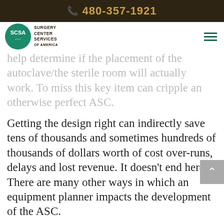480-357-1921
[Figure (logo): Surgery Center Services of America logo with teal circular emblem and company name]
help determine if the placement of the autoclave/the sterile room will actually work. To miss this key item can cripple an otherwise perfect ASC.
Getting the design right can indirectly save tens of thousands and sometimes hundreds of thousands of dollars worth of cost over-runs, delays and lost revenue. It doesn't end here. There are many other ways in which an equipment planner impacts the development of the ASC.
Efficient construction demands a tight schedule. Making the right decisions at the right time takes experience. Not all of the equipment needs to be decided at the